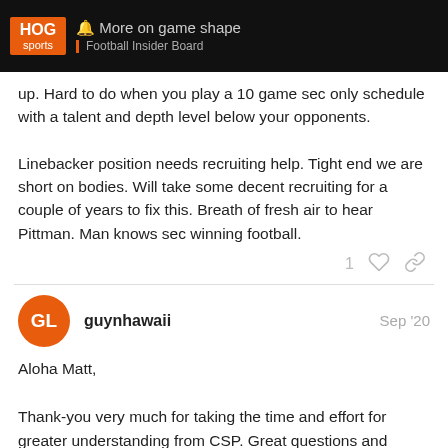More on game shape | Football Insider Board
up. Hard to do when you play a 10 game sec only schedule with a talent and depth level below your opponents.

Linebacker position needs recruiting help. Tight end we are short on bodies. Will take some decent recruiting for a couple of years to fix this. Breath of fresh air to hear Pittman. Man knows sec winning football.
guynhawaii  Sep '20

Aloha Matt,

Thank-you very much for taking the time and effort for greater understanding from CSP. Great questions and responses. Mahalo!